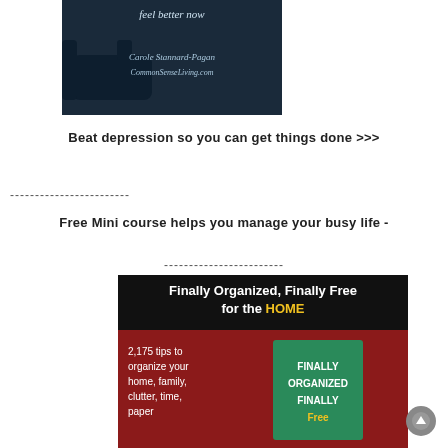[Figure (photo): Book cover showing 'feel better now' by Carole Stannard-Pagan, CommonSenseLiving.com, with dark background and chair]
Beat depression so you can get things done >>>
------------------------
Free Mini course helps you manage your busy life -
------------------------
[Figure (photo): Book cover for 'Finally Organized, Finally Free for the HOME' with text '2,175 tips to organize your home, family, clutter, time, paper' and image of a green book]